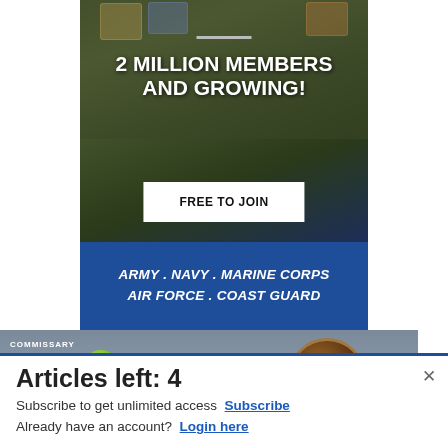[Figure (infographic): Military membership ad: '2 MILLION MEMBERS AND GROWING!' with 'FREE TO JOIN' button and 'ARMY . NAVY . MARINE CORPS AIR FORCE . COAST GUARD' text on blue bar. Background shows military personnel in uniform with patches.]
[Figure (infographic): Commissary Click2Go advertisement banner showing the Click2Go logo with a green circle and Commissary badge logo, with partially visible text 'order groceries' and a discount message.]
Articles left: 4
Subscribe to get unlimited access Subscribe
Already have an account? Login here